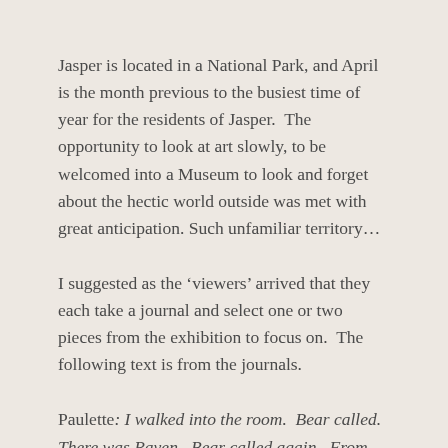Jasper is located in a National Park, and April is the month previous to the busiest time of year for the residents of Jasper.  The opportunity to look at art slowly, to be welcomed into a Museum to look and forget about the hectic world outside was met with great anticipation. Such unfamiliar territory…
I suggested as the 'viewers' arrived that they each take a journal and select one or two pieces from the exhibition to focus on.  The following text is from the journals.
Paulette: I walked into the room.  Bear called.  There was Raven.  Bear called again.  From the centre of my brain he was calling, he was calling and I kept circling.  Then the raven called and raven took the left…